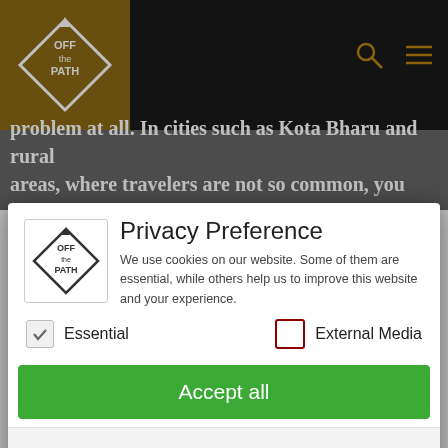[Figure (screenshot): Website header with 'Off the Path' diamond logo on brown background, dark navigation bar with search and menu icons]
problem at all. In cities such as Kota Bharu and rural areas, where travelers are not so common, you should
Privacy Preference
We use cookies on our website. Some of them are essential, while others help us to improve this website and your experience.
Essential
External Media
Accept all
Save
Individual Privacy Preferences
Cookie Details | Privacy Policy | Imprint